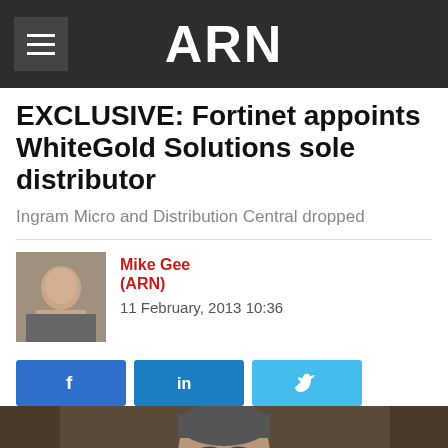ARN
EXCLUSIVE: Fortinet appoints WhiteGold Solutions sole distributor
Ingram Micro and Distribution Central dropped
Mike Gee (ARN)
11 February, 2013 10:36
[Figure (photo): Headshot photo of a man in a suit]
[Figure (photo): Author avatar photo of Mike Gee]